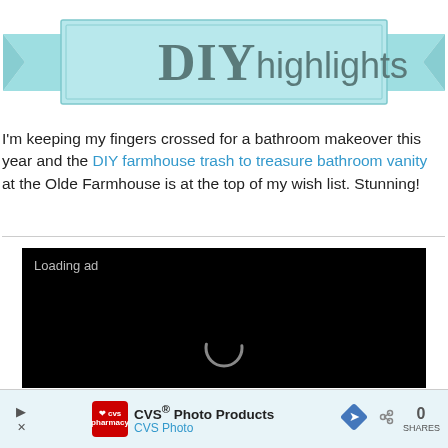[Figure (illustration): DIY highlights ribbon banner with teal/mint colored decorative ribbon design and text 'DIY highlights' in mixed serif/sans-serif fonts]
I'm keeping my fingers crossed for a bathroom makeover this year and the DIY farmhouse trash to treasure bathroom vanity at the Olde Farmhouse is at the top of my wish list. Stunning!
[Figure (screenshot): Dark/black loading ad block with 'Loading ad' text and a circular spinner animation]
[Figure (other): Bottom advertisement bar showing CVS Photo Products ad with CVS pharmacy logo, play button, navigation arrow icon, share icon, 0 count, and SHARES label]